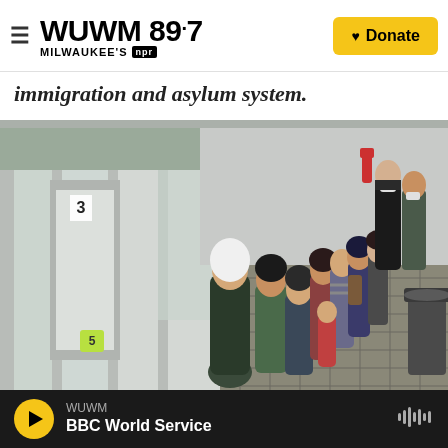WUWM 89.7 Milwaukee's NPR — Donate
immigration and asylum system.
[Figure (photo): People standing in a line inside what appears to be a temporary immigration processing facility with clear plastic walls and doors numbered '3'. Officials in dark uniforms stand at the back. Migrants, including children and adults, queue along the right side. A trash bin is visible on the far right.]
WUWM — BBC World Service